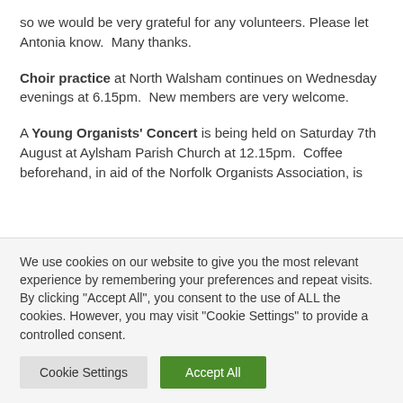so we would be very grateful for any volunteers. Please let Antonia know.  Many thanks.
Choir practice at North Walsham continues on Wednesday evenings at 6.15pm.  New members are very welcome.
A Young Organists' Concert is being held on Saturday 7th August at Aylsham Parish Church at 12.15pm.  Coffee beforehand, in aid of the Norfolk Organists Association, is
We use cookies on our website to give you the most relevant experience by remembering your preferences and repeat visits. By clicking "Accept All", you consent to the use of ALL the cookies. However, you may visit "Cookie Settings" to provide a controlled consent.